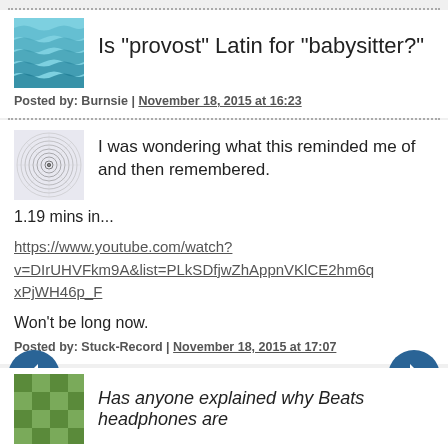Is "provost" Latin for "babysitter?"
Posted by: Burnsie | November 18, 2015 at 16:23
I was wondering what this reminded me of and then remembered.

1.19 mins in...

https://www.youtube.com/watch?v=DIrUHVFkm9A&list=PLkSDfjwZhAppnVKlCE2hm6qxPjWH46p_F

Won't be long now.
Posted by: Stuck-Record | November 18, 2015 at 17:07
Has anyone explained why Beats headphones are